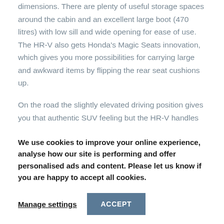dimensions. There are plenty of useful storage spaces around the cabin and an excellent large boot (470 litres) with low sill and wide opening for ease of use. The HR-V also gets Honda's Magic Seats innovation, which gives you more possibilities for carrying large and awkward items by flipping the rear seat cushions up.
On the road the slightly elevated driving position gives you that authentic SUV feeling but the HR-V handles just like a car. It feels nicely rigid and controlled through bends and the steering is sharp so you feel in
We use cookies to improve your online experience, analyse how our site is performing and offer personalised ads and content. Please let us know if you are happy to accept all cookies.
Manage settings
ACCEPT